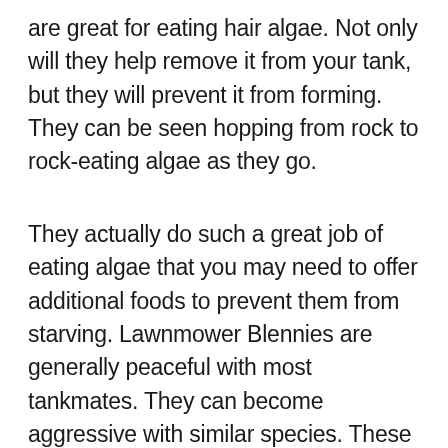are great for eating hair algae. Not only will they help remove it from your tank, but they will prevent it from forming. They can be seen hopping from rock to rock-eating algae as they go.
They actually do such a great job of eating algae that you may need to offer additional foods to prevent them from starving. Lawnmower Blennies are generally peaceful with most tankmates. They can become aggressive with similar species. These fish have a very unique personality and are [best] t for smaller tanks.